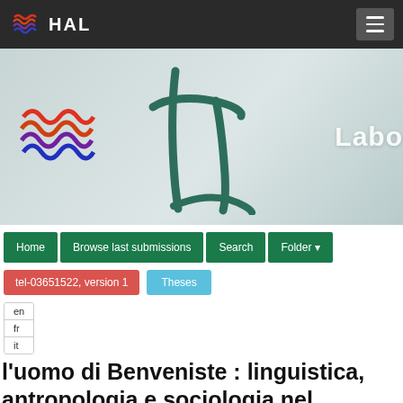HAL
[Figure (logo): HAL repository banner with HAL logo (colorful wave icon and white HAL text) on dark background, and a laboratory logo with green brush-stroke letters and partial text 'Labo' on gradient grey-green background]
[Figure (screenshot): Navigation menu with green buttons: Home, Browse last submissions, Search, Folder]
tel-03651522, version 1
Theses
en
fr
it
l'uomo di Benveniste : linguistica, antropologia e sociologia nel dibattito francese della seconda metà del